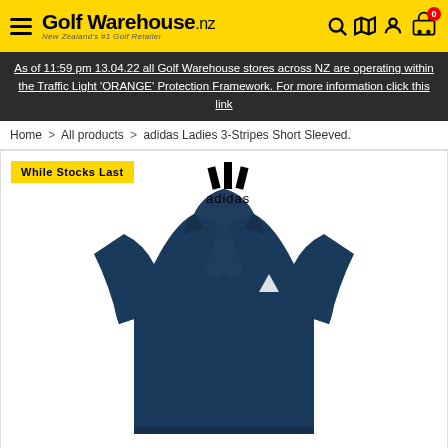Golf Warehouse.nz — New Zealand's #1 Golf Retailer
As of 11:59 pm 13.04.22 all Golf Warehouse stores across NZ are operating within the Traffic Light 'ORANGE' Protection Framework. For more information click this link
Home > All products > adidas Ladies 3-Stripes Short Sleeved.
While Stocks Last
[Figure (logo): Adidas logo with three stripes mountain icon and 'adidas' text]
[Figure (photo): Navy blue adidas Ladies 3-Stripes Short Sleeved polo shirt product photo on white background]